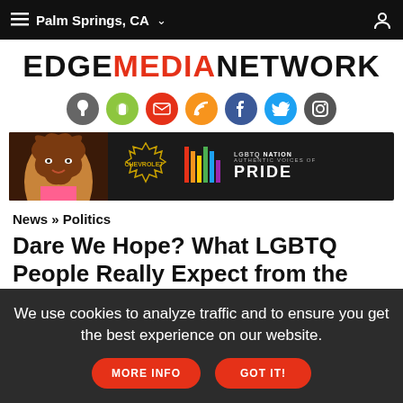Palm Springs, CA
[Figure (logo): EDGE MEDIA NETWORK logo with MEDIA in red]
[Figure (infographic): Social media icons: Apple, Android, Email, RSS, Facebook, Twitter, Instagram]
[Figure (photo): Chevrolet advertisement - LGBTQ Nation Authentic Voices of Pride banner ad]
News » Politics
Dare We Hope? What LGBTQ People Really Expect from the Biden Presidency
by Dan Allen
EDGE Media Network Contributor
Tuesday January 19, 2021
We use cookies to analyze traffic and to ensure you get the best experience on our website. MORE INFO GOT IT!